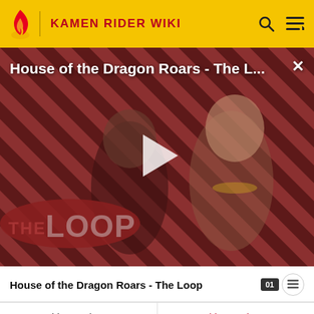KAMEN RIDER WIKI
[Figure (screenshot): Video thumbnail for 'House of the Dragon Roars - The L...' with a play button overlay, striped red/dark background with medieval characters, and 'THE LOOP' logo at bottom left. Close (X) button at top right.]
House of the Dragon Roars - The Loop
| Omega Rider Mach | Omega Rider Mach |
| Gaim Obimude | Gaim Obimude |